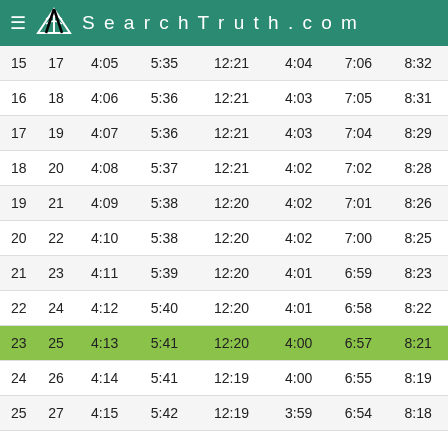SearchTruth.com
| 15 | 17 | 4:05 | 5:35 | 12:21 | 4:04 | 7:06 | 8:32 |
| 16 | 18 | 4:06 | 5:36 | 12:21 | 4:03 | 7:05 | 8:31 |
| 17 | 19 | 4:07 | 5:36 | 12:21 | 4:03 | 7:04 | 8:29 |
| 18 | 20 | 4:08 | 5:37 | 12:21 | 4:02 | 7:02 | 8:28 |
| 19 | 21 | 4:09 | 5:38 | 12:20 | 4:02 | 7:01 | 8:26 |
| 20 | 22 | 4:10 | 5:38 | 12:20 | 4:02 | 7:00 | 8:25 |
| 21 | 23 | 4:11 | 5:39 | 12:20 | 4:01 | 6:59 | 8:23 |
| 22 | 24 | 4:12 | 5:40 | 12:20 | 4:01 | 6:58 | 8:22 |
| 23 | 25 | 4:13 | 5:41 | 12:20 | 4:00 | 6:57 | 8:21 |
| 24 | 26 | 4:14 | 5:41 | 12:19 | 4:00 | 6:55 | 8:19 |
| 25 | 27 | 4:15 | 5:42 | 12:19 | 3:59 | 6:54 | 8:18 |